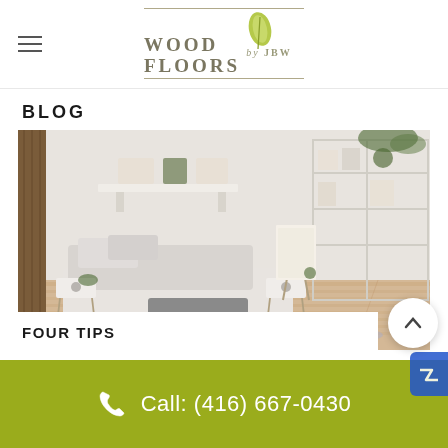[Figure (logo): Wood Floors by JBW logo with leaf graphic and horizontal lines above and below the text]
BLOG
[Figure (photo): Interior bedroom photo showing a low bed with white and gray bedding on a light wood floor, white walls, open shelving with decor and plants, and a white bookshelf in the background]
FOUR TIPS
Call: (416) 667-0430